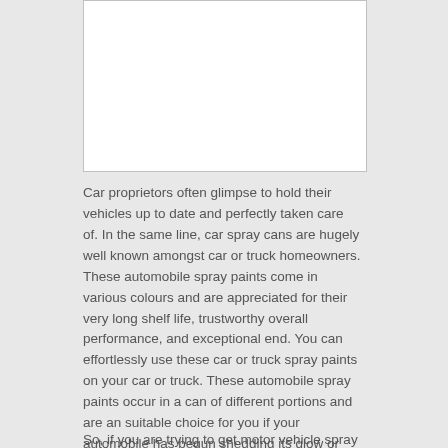[Figure (photo): White rectangular image placeholder area]
Car proprietors often glimpse to hold their vehicles up to date and perfectly taken care of. In the same line, car spray cans are hugely well known amongst car or truck homeowners. These automobile spray paints come in various colours and are appreciated for their very long shelf life, trustworthy overall performance, and exceptional end. You can effortlessly use these car or truck spray paints on your car or truck. These automobile spray paints occur in a can of different portions and are an suitable choice for you if your automobile has begun shedding its glow or seem.
So, if you are trying to get motor vehicle spray